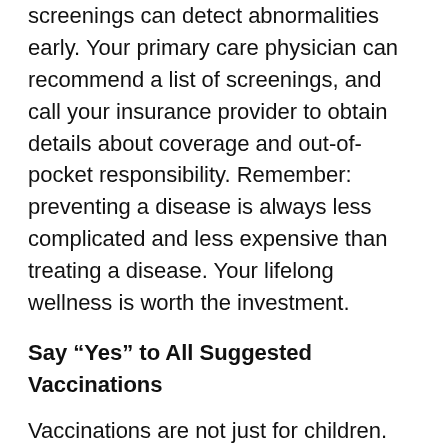screenings can detect abnormalities early. Your primary care physician can recommend a list of screenings, and call your insurance provider to obtain details about coverage and out-of-pocket responsibility. Remember:  preventing a disease is always less complicated and less expensive than treating a disease. Your lifelong wellness is worth the investment.
Say “Yes” to All Suggested Vaccinations
Vaccinations are not just for children. Tetanus boosters and yearly flu shots are part of wise preventive care. The CDC has published a full vaccine schedule, and you can access it by clicking here.
Utilize Community Resources